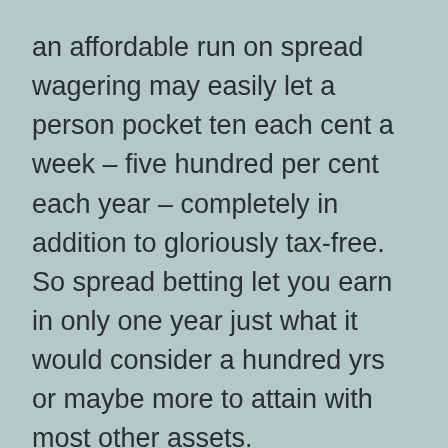an affordable run on spread wagering may easily let a person pocket ten each cent a week – five hundred per cent each year – completely in addition to gloriously tax-free. So spread betting let you earn in only one year just what it would consider a hundred yrs or maybe more to attain with most other assets.
Spread betters gamble on price movements of anything by individual shares, currencies and commodities to whole markets just like the FTSE, Dax or S&P. It truly is called spread betting because the company providing the